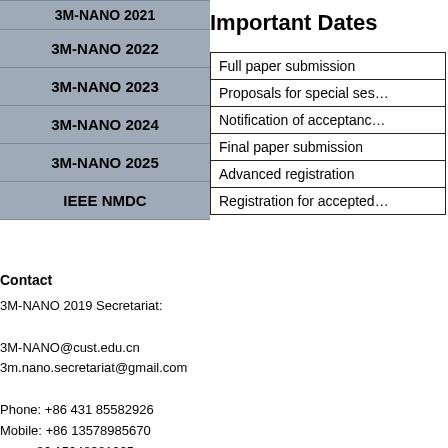3M-NANO 2022
3M-NANO 2023
3M-NANO 2024
3M-NANO 2025
IEEE NMDC
Contact
3M-NANO 2019 Secretariat:
3M-NANO@cust.edu.cn
3m.nano.secretariat@gmail.com
Phone: +86 431 85582926
Mobile: +86 13578985670
       +86 15948381925
Fax: +86 431 85582925
Important Dates
|  |
| --- |
| Full paper submission |
| Proposals for special sessions |
| Notification of acceptance |
| Final paper submission |
| Advanced registration |
| Registration for accepted papers |